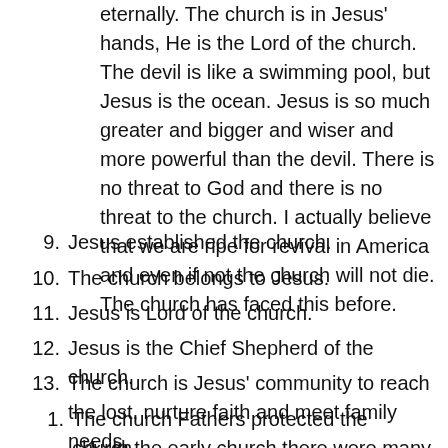eternally. The church is in Jesus' hands, He is the Lord of the church. The devil is like a swimming pool, but Jesus is the ocean. Jesus is so much greater and bigger and wiser and more powerful than the devil. There is no threat to God and there is no threat to the church. I actually believe that we are ripe for revival in America and even if not the church will not die. The church has faced this before.
9. Jesus established the church.
10. The church belongs to Jesus.
11. Jesus is Lord of the church.
12. Jesus is the Chief Shepherd of the church.
13. The church is Jesus' community to reach the lost, nurture faith and meet family needs.
1. The church Fathers protected the church.
1. In the early church there were many church